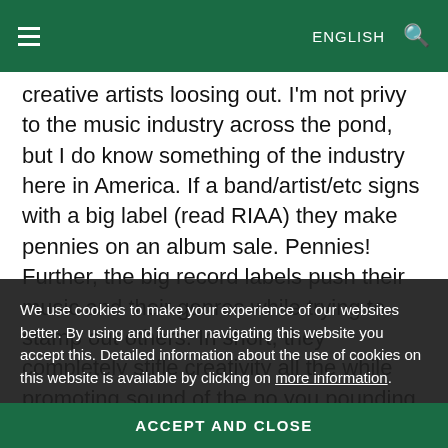ENGLISH
creative artists loosing out. I'm not privy to the music industry across the pond, but I do know something of the industry here in America. If a band/artist/etc signs with a big label (read RIAA) they make pennies on an album sale. Pennies! Further, the big record labels push their music and their genres while trying to stamp out others. In short, they completely stifle creativity all the while promoting sound of the no you pounding music. Very often they have ended good musical talent because of their
We use cookies to make your experience of our websites better. By using and further navigating this website you accept this. Detailed information about the use of cookies on this website is available by clicking on more information.
ACCEPT AND CLOSE